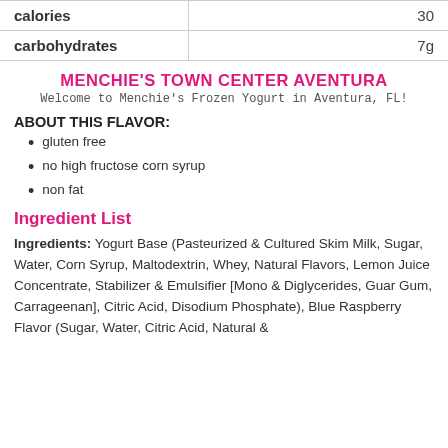|  |  |
| --- | --- |
| calories | 30 |
| carbohydrates | 7g |
MENCHIE'S TOWN CENTER AVENTURA
Welcome to Menchie's Frozen Yogurt in Aventura, FL!
ABOUT THIS FLAVOR:
gluten free
no high fructose corn syrup
non fat
Ingredient List
Ingredients: Yogurt Base (Pasteurized & Cultured Skim Milk, Sugar, Water, Corn Syrup, Maltodextrin, Whey, Natural Flavors, Lemon Juice Concentrate, Stabilizer & Emulsifier [Mono & Diglycerides, Guar Gum, Carrageenan], Citric Acid, Disodium Phosphate), Blue Raspberry Flavor (Sugar, Water, Citric Acid, Natural &